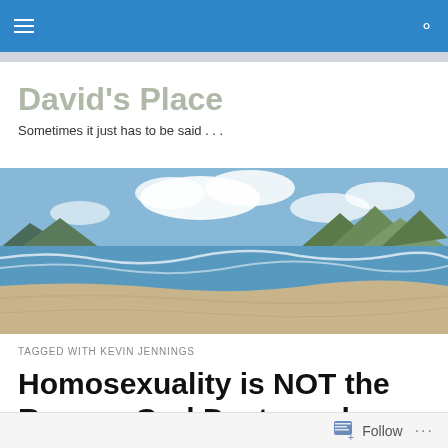David's Place navigation bar
David's Place
Sometimes it just has to be said . . .
[Figure (photo): Panoramic beach photo with ocean waves, sandy shore, green islands, and mountains in the background under a partly cloudy sky]
TAGGED WITH KEVIN JENNINGS
Homosexuality is NOT the Reason God Destroyed Sodom and Gomorrah
Follow